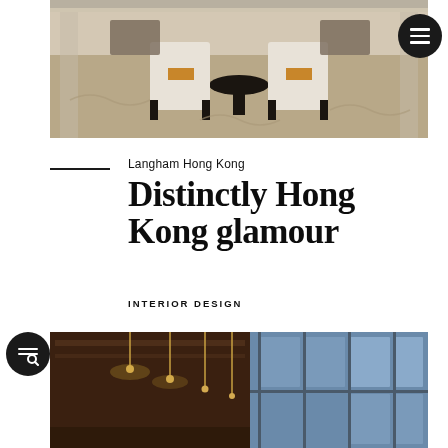[Figure (photo): Hotel lobby interior with white upholstered chairs with orange cushions around a round black marble table, patterned carpet, columns, and elegant decor]
Langham Hong Kong
Distinctly Hong Kong glamour
INTERIOR DESIGN
[Figure (photo): Hotel corridor interior with warm lighting, wood paneling on ceiling, floor-to-ceiling blue glass windows on right side, golden accent lights]